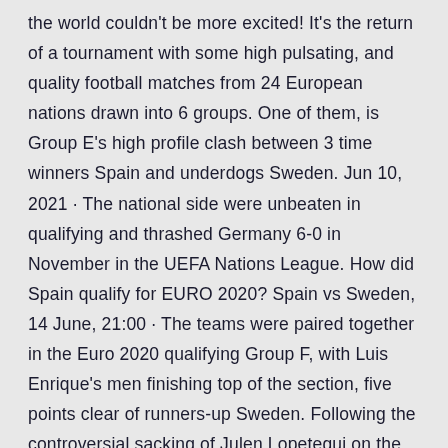the world couldn't be more excited! It's the return of a tournament with some high pulsating, and quality football matches from 24 European nations drawn into 6 groups. One of them, is Group E's high profile clash between 3 time winners Spain and underdogs Sweden. Jun 10, 2021 · The national side were unbeaten in qualifying and thrashed Germany 6-0 in November in the UEFA Nations League. How did Spain qualify for EURO 2020? Spain vs Sweden, 14 June, 21:00 · The teams were paired together in the Euro 2020 qualifying Group F, with Luis Enrique's men finishing top of the section, five points clear of runners-up Sweden. Following the controversial sacking of Julen Lopetegui on the eve of the 2018 World Cup that resulted in the last-16 elimination to Russia, Spain will be looking to improve this summer.